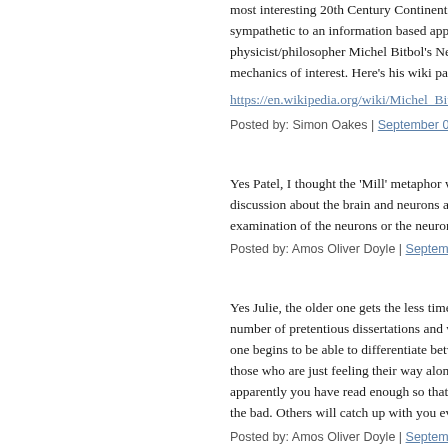most interesting 20th Century Continental p... sympathetic to an information based approa... physicist/philosopher Michel Bitbol's Neo K... mechanics of interest. Here's his wiki page:
https://en.wikipedia.org/wiki/Michel_Bitbol
Posted by: Simon Oakes | September 07, 2015 at 02...
Yes Patel, I thought the 'Mill' metaphor was ... discussion about the brain and neurons and t... examination of the neurons or the neuronal g...
Posted by: Amos Oliver Doyle | September 07, 2015...
Yes Julie, the older one gets the less time the... number of pretentious dissertations and well... one begins to be able to differentiate betwee... those who are just feeling their way along try... apparently you have read enough so that you... the bad. Others will catch up with you event...
Posted by: Amos Oliver Doyle | September 07, 2015...
@No One: Yeah the idea of comfort of li...